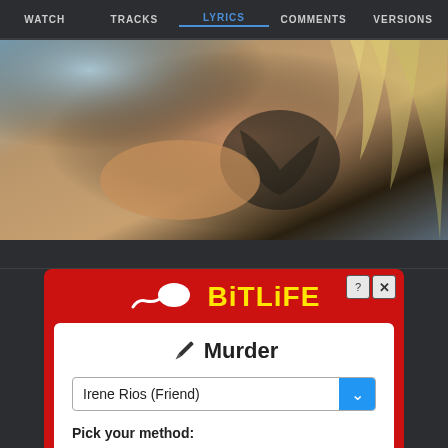WATCH | TRACKS | LYRICS | COMMENTS | VERSIONS
[Figure (photo): Cropped photo of a person with blonde hair and a dark wing tattoo on their back/shoulder area, blurred/bokeh background]
[Figure (screenshot): BitLife mobile game advertisement showing a Murder screen with Irene Rios (Friend) selected as victim and Electrocution as method, with Do it! and No, what am I thinking? buttons]